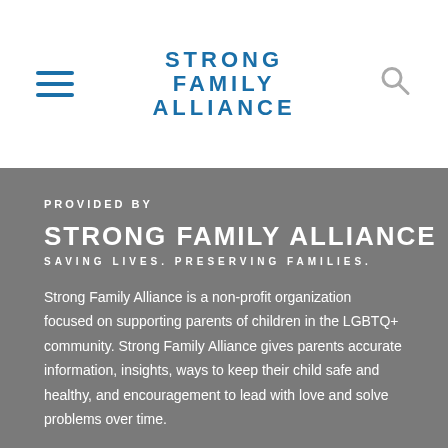[Figure (logo): Strong Family Alliance logo with hamburger menu icon on the left and search icon on the right. Logo text reads STRONG FAMILY ALLIANCE in bold blue uppercase lettered text.]
PROVIDED BY
STRONG FAMILY ALLIANCE
SAVING LIVES. PRESERVING FAMILIES.
Strong Family Alliance is a non-profit organization focused on supporting parents of children in the LGBTQ+ community. Strong Family Alliance gives parents accurate information, insights, ways to keep their child safe and healthy, and encouragement to lead with love and solve problems over time.